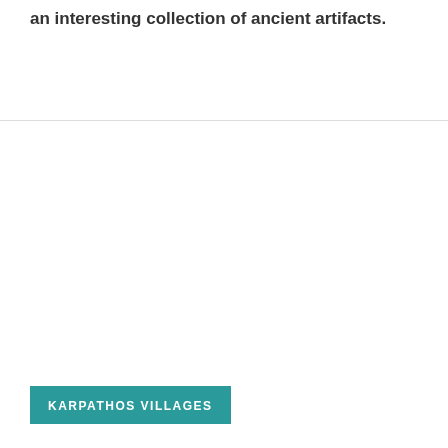an interesting collection of ancient artifacts.
KARPATHOS VILLAGES
Diafani